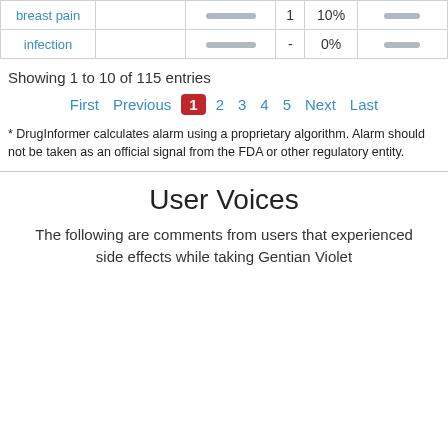| Symptom |  |  | Count | % |  |
| --- | --- | --- | --- | --- | --- |
| breast pain |  | — | 1 | 10% | — |
| infection |  | — | - | 0% | — |
Showing 1 to 10 of 115 entries
First  Previous  1  2  3  4  5  Next  Last
* DrugInformer calculates alarm using a proprietary algorithm. Alarm should not be taken as an official signal from the FDA or other regulatory entity.
User Voices
The following are comments from users that experienced side effects while taking Gentian Violet